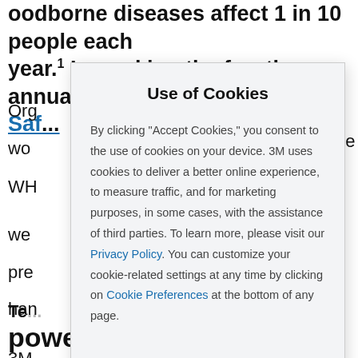Foodborne diseases affect 1 in 10 people each year.¹ In marking the fourth annual World Food Safety...
Org... wo... the WH...
we pre han
3M hel the hig
He
[Figure (screenshot): Cookie consent modal dialog with title 'Use of Cookies' and body text explaining cookie usage, with links to Privacy Policy and Cookie Preferences.]
Te... powered by science.